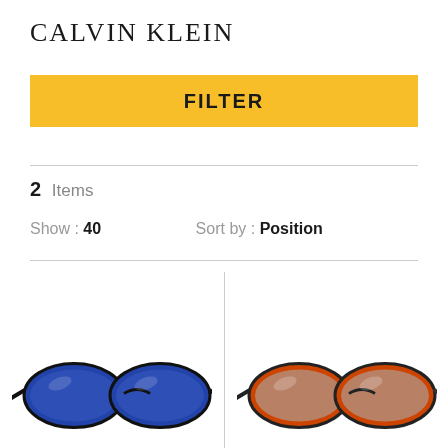CALVIN KLEIN
FILTER
2 Items
Show : 40    Sort by : Position
[Figure (photo): Two pairs of sunglasses: one blue frame on the left, one orange frame on the right, both with flat rectangular lenses. Partial view cropped at the bottom of the page.]